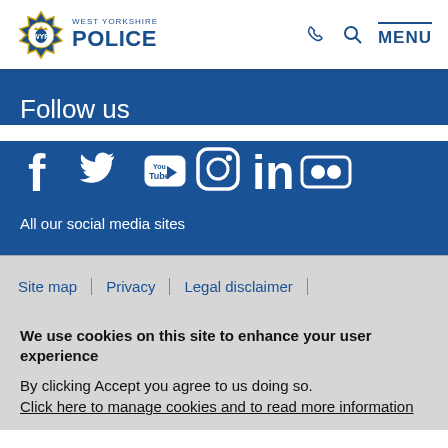West Yorkshire Police — site header with logo, phone, search, and MENU navigation
Follow us
[Figure (infographic): Social media icons: Facebook, Twitter, YouTube, Instagram, LinkedIn, Flickr]
All our social media sites
Site map | Privacy | Legal disclaimer |
We use cookies on this site to enhance your user experience
By clicking Accept you agree to us doing so. Click here to manage cookies and to read more information